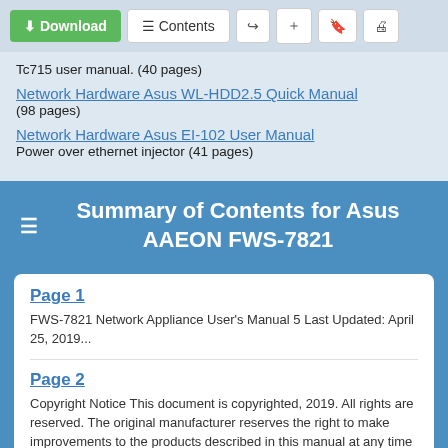[Figure (screenshot): Toolbar with Download, Contents, share, add, bookmark, and print buttons]
Tc715 user manual. (40 pages)
Network Hardware Asus WL-HDD2.5 Quick Manual (98 pages)
Network Hardware Asus EI-102 User Manual Power over ethernet injector (41 pages)
Summary of Contents for Asus AAEON FWS-7821
Page 1
FWS-7821 Network Appliance User's Manual 5 Last Updated: April 25, 2019...
Page 2
Copyright Notice This document is copyrighted, 2019. All rights are reserved. The original manufacturer reserves the right to make improvements to the products described in this manual at any time without notice. No part of this manual may be